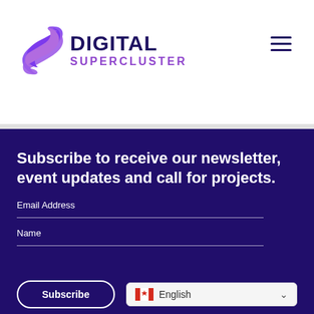[Figure (logo): Digital Supercluster logo with purple S-shaped icon and text 'DIGITAL SUPERCLUSTER']
[Figure (other): Hamburger menu icon (three horizontal lines) in top right corner]
Subscribe to receive our newsletter, event updates and call for projects.
Email Address
Name
Subscribe
English